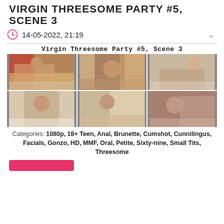VIRGIN THREESOME PARTY #5, SCENE 3
14-05-2022, 21:19
[Figure (photo): Grid of 6 adult video thumbnail images arranged in 2 rows of 3]
Virgin Threesome Party #5, Scene 3
Categories: 1080p, 18+ Teen, Anal, Brunette, Cumshot, Cunnilingus, Facials, Gonzo, HD, MMF, Oral, Petite, Sixty-nine, Small Tits, Threesome